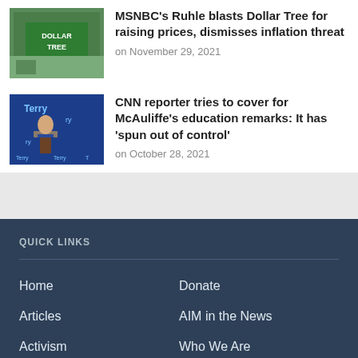[Figure (photo): Dollar Tree store exterior with green sign]
MSNBC's Ruhle blasts Dollar Tree for raising prices, dismisses inflation threat
on November 29, 2021
[Figure (photo): Terry McAuliffe speaking at a podium with blue campaign backdrop]
CNN reporter tries to cover for McAuliffe’s education remarks: It has ‘spun out of control’
on October 28, 2021
QUICK LINKS
Home
Donate
Articles
AIM in the News
Activism
Who We Are
History of AIM
Contact